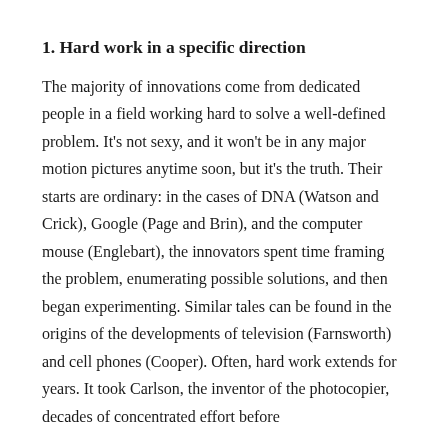1. Hard work in a specific direction
The majority of innovations come from dedicated people in a field working hard to solve a well-defined problem. It's not sexy, and it won't be in any major motion pictures anytime soon, but it's the truth. Their starts are ordinary: in the cases of DNA (Watson and Crick), Google (Page and Brin), and the computer mouse (Englebart), the innovators spent time framing the problem, enumerating possible solutions, and then began experimenting. Similar tales can be found in the origins of the developments of television (Farnsworth) and cell phones (Cooper). Often, hard work extends for years. It took Carlson, the inventor of the photocopier, decades of concentrated effort before